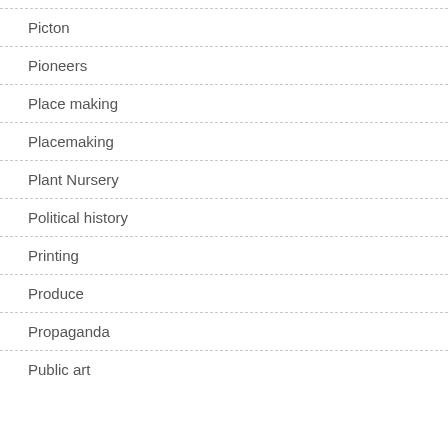Picton
Pioneers
Place making
Placemaking
Plant Nursery
Political history
Printing
Produce
Propaganda
Public art